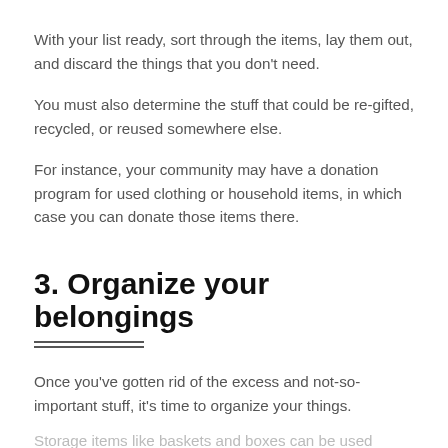With your list ready, sort through the items, lay them out, and discard the things that you don't need.
You must also determine the stuff that could be re-gifted, recycled, or reused somewhere else.
For instance, your community may have a donation program for used clothing or household items, in which case you can donate those items there.
3. Organize your belongings
Once you've gotten rid of the excess and not-so-important stuff, it's time to organize your things.
Storage items like baskets and boxes can be used